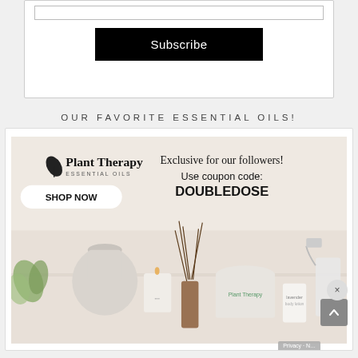[Figure (other): Top portion of a subscribe box with an input field and a black Subscribe button]
OUR FAVORITE ESSENTIAL OILS!
[Figure (other): Plant Therapy Essential Oils advertisement banner showing products (diffuser, candles, spray bottle) with text: Exclusive for our followers! Use coupon code: DOUBLEDOSE and a SHOP NOW button]